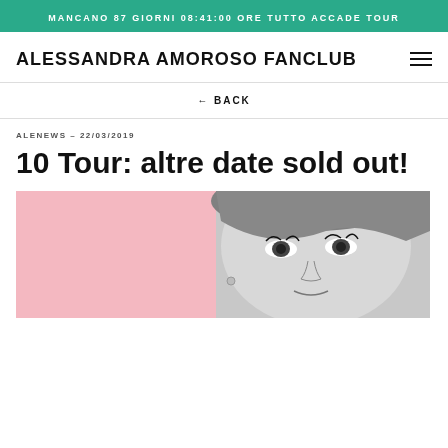MANCANO 87 GIORNI 08:41:00 ORE TUTTO ACCADE TOUR
ALESSANDRA AMOROSO FANCLUB
← BACK
ALENEWS – 22/03/2019
10 Tour: altre date sold out!
[Figure (photo): Black and white close-up photo of a woman's face with bangs, against a pink background]